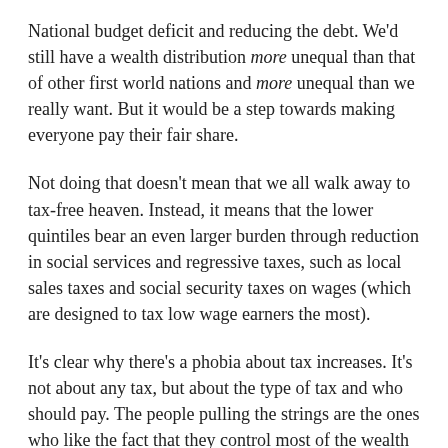National budget deficit and reducing the debt. We'd still have a wealth distribution more unequal than that of other first world nations and more unequal than we really want. But it would be a step towards making everyone pay their fair share.
Not doing that doesn't mean that we all walk away to tax-free heaven. Instead, it means that the lower quintiles bear an even larger burden through reduction in social services and regressive taxes, such as local sales taxes and social security taxes on wages (which are designed to tax low wage earners the most).
It's clear why there's a phobia about tax increases. It's not about any tax, but about the type of tax and who should pay. The people pulling the strings are the ones who like the fact that they control most of the wealth and are quite happy to keep the burden on those least able to pay. They're afraid that they might have to pay their share.
The real question is why everyone else seems content to go along.